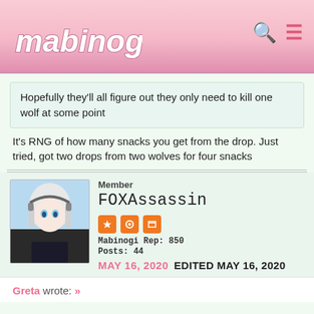mabinogi
Hopefully they'll all figure out they only need to kill one wolf at some point
It's RNG of how many snacks you get from the drop. Just tried, got two drops from two wolves for four snacks
Member
FOXAssassin
Mabinogi Rep: 850
Posts: 44
MAY 16, 2020  EDITED MAY 16, 2020
Greta wrote: »